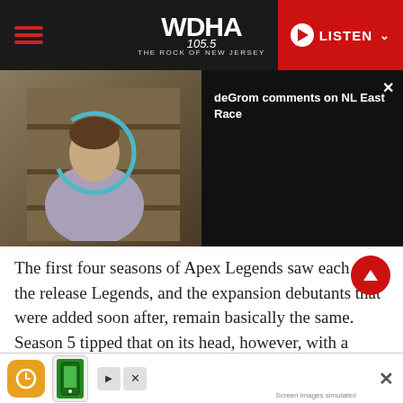WDHA 105.5 - THE ROCK OF NEW JERSEY | LISTEN
[Figure (screenshot): Video thumbnail showing a man in a locker room with a teal circle overlay; black panel with title 'deGrom comments on NL East Race' and a close button]
The first four seasons of Apex Legends saw each of the release Legends, and the expansion debutants that were added soon after, remain basically the same. Season 5 tipped that on its head, however, with a mega-sized Mirage rework.
In a video released yesterday by EA, Apex's
[Figure (screenshot): Advertisement banner at bottom with app icons, arrow controls, and 'Screen images simulated' text with close X button]